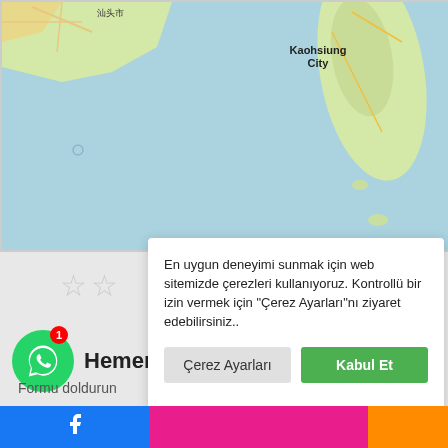[Figure (map): Google Maps style map showing the South China Sea area with Taiwan (Kaohsiung City label) and southern China coast (汕头市 / Shantou) visible. Ocean is light blue, land is light green/yellow.]
[Figure (screenshot): Cookie consent popup overlay on a website. Contains text in Turkish and two buttons: 'Çerez Ayarları' (gray) and 'Kabul Et' (green). Also shows two gray star icons, a WhatsApp chat bubble with red notification badge showing '1', partial text 'Hemen Dan' and 'Formu doldurun...' below. Bottom has a bar with Facebook icon (blue), pink section, and orange section.]
En uygun deneyimi sunmak için web sitemizde çerezleri kullanıyoruz. Kontrollü bir izin vermek için "Çerez Ayarları"nı ziyaret edebilirsiniz..